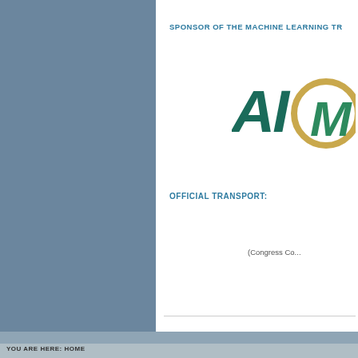SPONSOR OF THE MACHINE LEARNING TR...
[Figure (logo): AIMA logo - stylized letters AI and M with a gold circle, green and teal coloring]
OFFICIAL TRANSPORT:
(Congress Co...
YOU ARE HERE: HOME